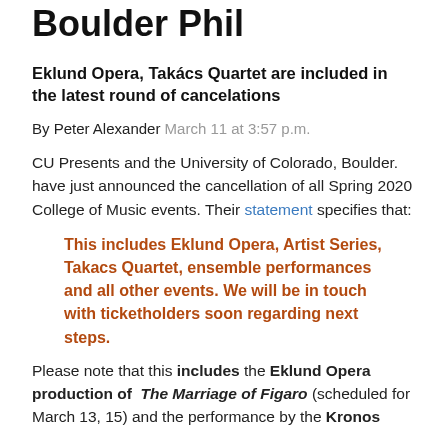Boulder Phil
Eklund Opera, Takács Quartet are included in the latest round of cancelations
By Peter Alexander March 11 at 3:57 p.m.
CU Presents and the University of Colorado, Boulder. have just announced the cancellation of all Spring 2020 College of Music events. Their statement specifies that:
This includes Eklund Opera, Artist Series, Takacs Quartet, ensemble performances and all other events. We will be in touch with ticketholders soon regarding next steps.
Please note that this includes the Eklund Opera production of The Marriage of Figaro (scheduled for March 13, 15) and the performance by the Kronos